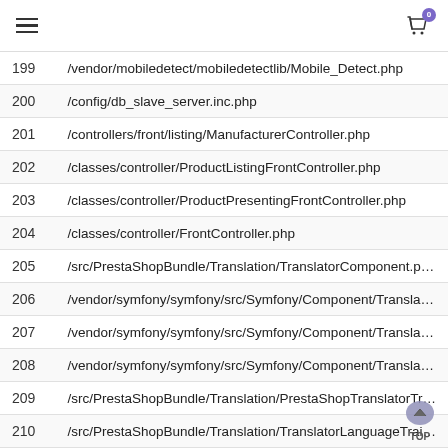≡  [cart icon with badge 0]
| # | Path |
| --- | --- |
| 199 | /vendor/mobiledetect/mobiledetectlib/Mobile_Detect.php |
| 200 | /config/db_slave_server.inc.php |
| 201 | /controllers/front/listing/ManufacturerController.php |
| 202 | /classes/controller/ProductListingFrontController.php |
| 203 | /classes/controller/ProductPresentingFrontController.php |
| 204 | /classes/controller/FrontController.php |
| 205 | /src/PrestaShopBundle/Translation/TranslatorComponent.p… |
| 206 | /vendor/symfony/symfony/src/Symfony/Component/Transla… |
| 207 | /vendor/symfony/symfony/src/Symfony/Component/Transla… |
| 208 | /vendor/symfony/symfony/src/Symfony/Component/Transla… |
| 209 | /src/PrestaShopBundle/Translation/PrestaShopTranslatorTr… |
| 210 | /src/PrestaShopBundle/Translation/TranslatorLanguageTrai… |